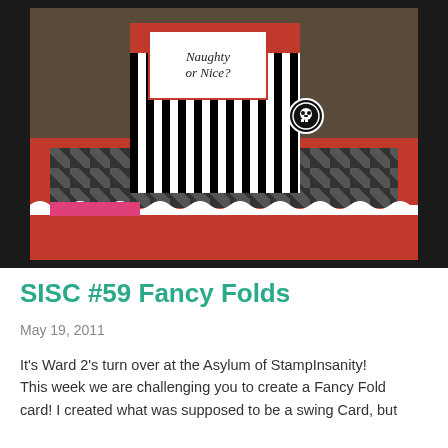[Figure (photo): A handmade swing card with black and white vertical stripes, a red accent, a label reading 'Naughty or Nice?', a skull badge, and a red box base with a geometric patterned strip and torn white deckled edge. Pink label in bottom left corner.]
SISC #59 Fancy Folds
May 19, 2011
It's Ward 2's turn over at the Asylum of StampInsanity! This week we are challenging you to create a Fancy Fold card! I created what was supposed to be a swing Card, but